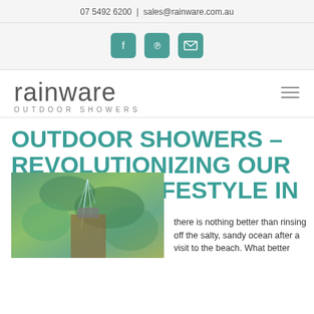07 5492 6200  |  sales@rainware.com.au
[Figure (other): Social media icon buttons: Facebook, Pinterest, Email - teal rounded squares]
[Figure (logo): Rainware Outdoor Showers logo with hamburger menu icon]
OUTDOOR SHOWERS – REVOLUTIONIZING OUR OUTDOOR LIFESTYLE IN AUSTRALIA
[Figure (photo): Outdoor shower photo showing water spray with tropical green foliage in background]
there is nothing better than rinsing off the salty, sandy ocean after a visit to the beach. What better